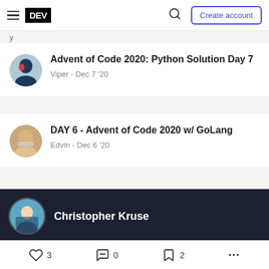DEV | Create account
Advent of Code 2020: Python Solution Day 7 — Viper - Dec 7 '20
DAY 6 - Advent of Code 2020 w/ GoLang — Edvin - Dec 6 '20
Christopher Kruse
Follow
3  0  2  ...